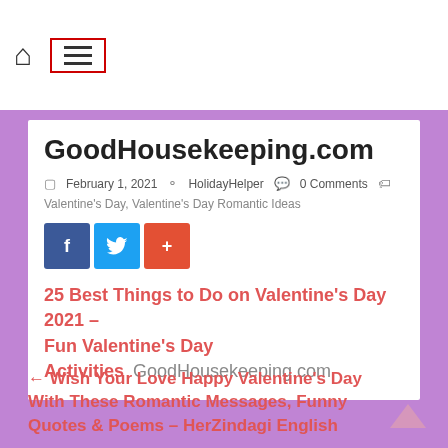Home / Menu navigation bar
GoodHousekeeping.com
February 1, 2021   HolidayHelper   0 Comments
Valentine's Day, Valentine's Day Romantic Ideas
[Figure (other): Social share buttons: Facebook (f), Twitter (bird), Google+ (+)]
25 Best Things to Do on Valentine's Day 2021 – Fun Valentine's Day Activities  GoodHousekeeping.com
← Wish Your Love Happy Valentine's Day With These Romantic Messages, Funny Quotes & Poems – HerZindagi English